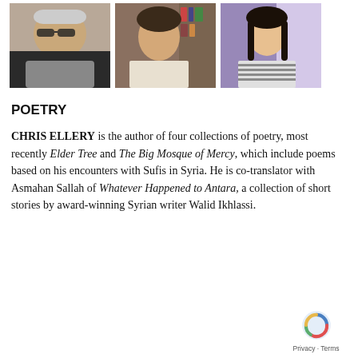[Figure (photo): Three portrait photos side by side: an older man with sunglasses, a young man in front of bookshelves, and a young woman in a striped shirt.]
POETRY
CHRIS ELLERY is the author of four collections of poetry, most recently Elder Tree and The Big Mosque of Mercy, which include poems based on his encounters with Sufis in Syria. He is co-translator with Asmahan Sallah of Whatever Happened to Antara, a collection of short stories by award-winning Syrian writer Walid Ikhlassi.